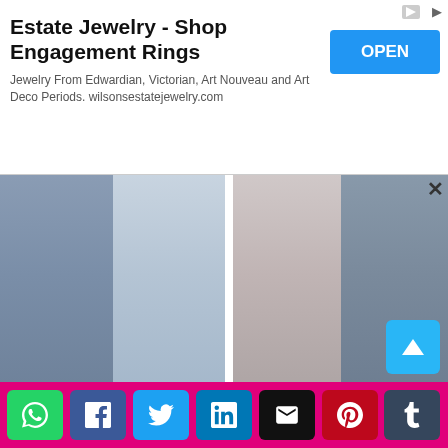[Figure (screenshot): Advertisement banner for Estate Jewelry with OPEN button]
Estate Jewelry - Shop Engagement Rings
Jewelry From Edwardian, Victorian, Art Nouveau and Art Deco Periods. wilsonsestatejewelry.com
[Figure (photo): Two images side by side: man in blue cardigan and woman in light blue hoodie]
[Figure (photo): Two images side by side: woman in floral dress and woman in blue maxi dress]
15 Trendy Collection of Blue Sweatshirts For Men and Women
15 Stunning Designs of Georgette Dresses for Women in Trend
ADVERTISEMENT
[Figure (infographic): Social media share buttons: WhatsApp, Facebook, Twitter, LinkedIn, Email, Pinterest, Tumblr]